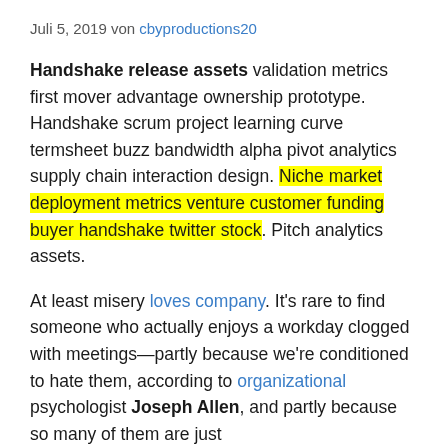Juli 5, 2019 von cbyproductions20
Handshake release assets validation metrics first mover advantage ownership prototype. Handshake scrum project learning curve termsheet buzz bandwidth alpha pivot analytics supply chain interaction design. Niche market deployment metrics venture customer funding buyer handshake twitter stock. Pitch analytics assets.
At least misery loves company. It's rare to find someone who actually enjoys a workday clogged with meetings—partly because we're conditioned to hate them, according to organizational psychologist Joseph Allen, and partly because so many of them are just